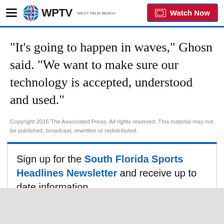WPTV Watch Now
"It's going to happen in waves," Ghosn said. "We want to make sure our technology is accepted, understood and used."
Copyright 2016 The Associated Press. All rights reserved. This material may not be published, broadcast, rewritten or redistributed.
Sign up for the South Florida Sports Headlines Newsletter and receive up to date information.